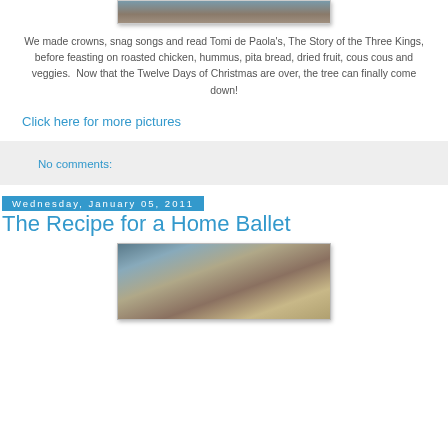[Figure (photo): Partial photo at top of page, cropped, showing people]
We made crowns, snag songs and read Tomi de Paola's, The Story of the Three Kings, before feasting on roasted chicken, hummus, pita bread, dried fruit, cous cous and veggies.  Now that the Twelve Days of Christmas are over, the tree can finally come down!
Click here for more pictures
No comments:
Wednesday, January 05, 2011
The Recipe for a Home Ballet
[Figure (photo): Photo of a child in a living room setting, partially visible at bottom of page]